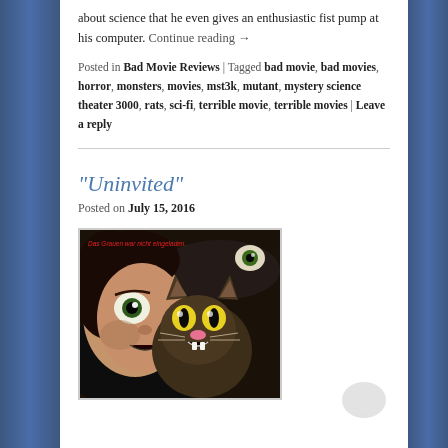about science that he even gives an enthusiastic fist pump at his computer. Continue reading →
Posted in Bad Movie Reviews | Tagged bad movie, bad movies, horror, monsters, movies, mst3k, mutant, mystery science theater 3000, rats, sci-fi, terrible movie, terrible movies | Leave a reply
"Uninvited"
Posted on July 15, 2016
[Figure (illustration): Movie poster for 'Uninvited' showing a screaming cat and a frightened woman's face with wide eyes, with German text 'Das Grauen war nicht eingeladen' in red at the top]